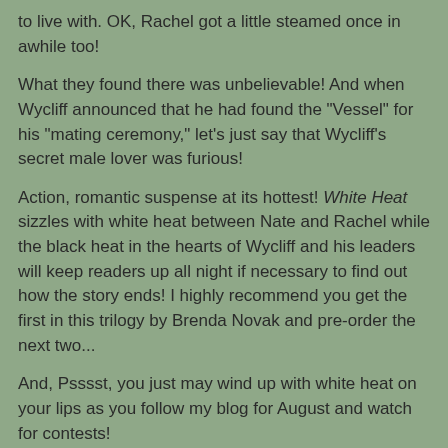to live with. OK, Rachel got a little steamed once in awhile too!
What they found there was unbelievable! And when Wycliff announced that he had found the "Vessel" for his "mating ceremony," let's just say that Wycliff's secret male lover was furious!
Action, romantic suspense at its hottest! White Heat sizzles with white heat between Nate and Rachel while the black heat in the hearts of Wycliff and his leaders will keep readers up all night if necessary to find out how the story ends! I highly recommend you get the first in this trilogy by Brenda Novak and pre-order the next two...
And, Psssst, you just may wind up with white heat on your lips as you follow my blog for August and watch for contests!
Book Received Via
PierceMatti.Com
G. A. Bixler